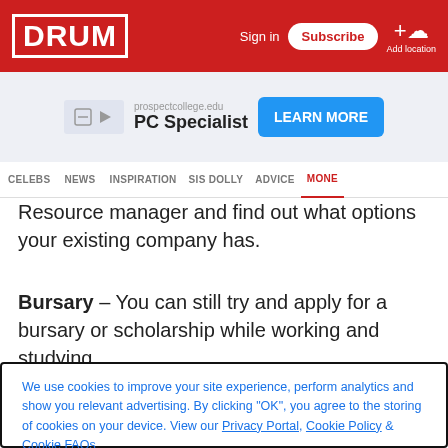DRUM — Sign in | Subscribe | Add location
[Figure (screenshot): Advertisement banner: prospectcollege.edu PC Specialist — LEARN MORE button]
CELEBS | NEWS | INSPIRATION | SIS DOLLY | ADVICE | MONEY
Resource manager and find out what options your existing company has.
Bursary – You can still try and apply for a bursary or scholarship while working and studying.
We use cookies to improve your site experience, perform analytics and show you relevant advertising. By clicking "OK", you agree to the storing of cookies on your device. View our Privacy Portal, Cookie Policy & Cookie FAQs